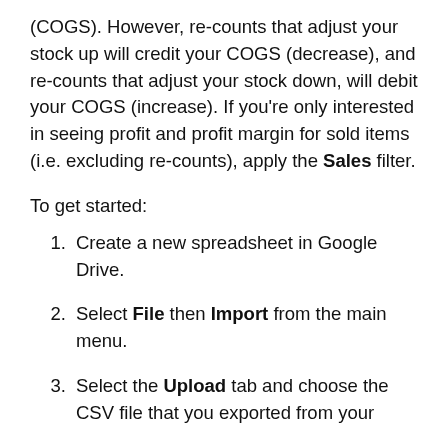(COGS). However, re-counts that adjust your stock up will credit your COGS (decrease), and re-counts that adjust your stock down, will debit your COGS (increase). If you're only interested in seeing profit and profit margin for sold items (i.e. excluding re-counts), apply the Sales filter.
To get started:
1. Create a new spreadsheet in Google Drive.
2. Select File then Import from the main menu.
3. Select the Upload tab and choose the CSV file that you exported from your